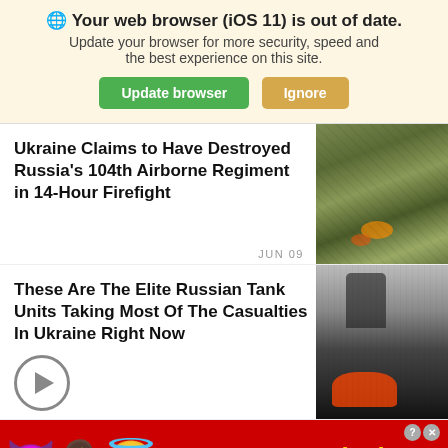🌐 Your web browser (iOS 11) is out of date. Update your browser for more security, speed and the best experience on this site.
Update browser | Ignore
Ukraine Claims to Have Destroyed Russia's 104th Airborne Regiment in 14-Hour Firefight
JUN 09
[Figure (photo): Aerial or ground photo showing burning vegetation/fire in a forest or field area, likely from a firefight or airstrike.]
These Are The Elite Russian Tank Units Taking Most Of The Casualties In Ukraine Right Now
[Figure (photo): Photo of burning military vehicle or tank with black smoke rising, likely destroyed in combat in Ukraine.]
[Figure (screenshot): Advertisement banner for BitLife game with devil emoji, woman emoji, angel emoji, and text reading REAL CHOICES.]